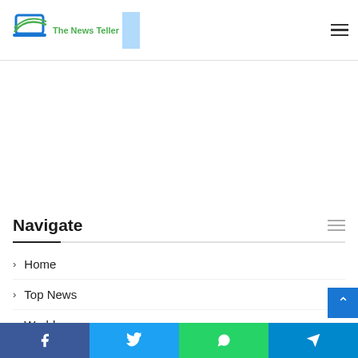[Figure (logo): The News Teller logo — laptop icon in blue/green with text 'The News Teller' in green below]
Navigate
Home
Top News
World
Economy
science
[Figure (infographic): Social share bar with Facebook, Twitter, WhatsApp, and Telegram icons]